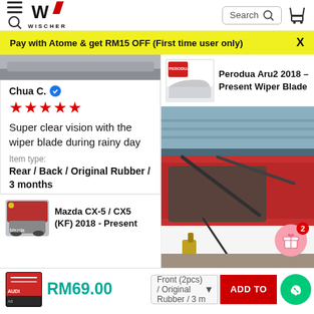WISCHER
Pay with Atome & get RM15 OFF (First time user only)
Chua C. ✓
★★★★★
Super clear vision with the wiper blade during rainy day
Item type: Rear / Back / Original Rubber / 3 months
[Figure (photo): Photo of wiper blade product for Perodua Arus 2018 - Present]
Perodua Aru2 2018 - Present Wiper Blade
[Figure (photo): Photo of wiper blades on red car windshield]
Mazda CX-5 / CX5 (KF) 2018 - Present
[Figure (photo): Product thumbnail showing wiper blades for Audi A8]
RM69.00
Front (2pcs) / Original Rubber / 3 m
ADD TO